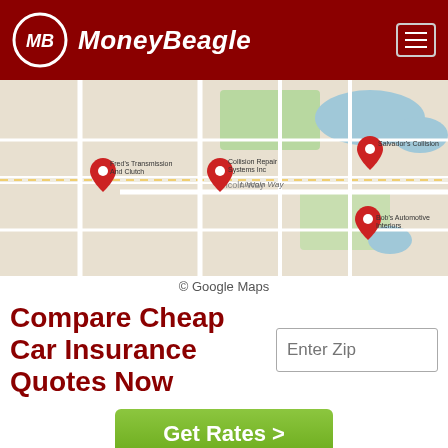MoneyBeagle
[Figure (map): Google Maps screenshot showing local auto body and collision repair shops in Osceola area, with red pin markers for: Fred's Transmission And Clutch, Collision Repair Systems Inc, Salvador's Collision, and Bob's Automotive Interiors]
© Google Maps
Compare Cheap Car Insurance Quotes Now
Enter Zip
Get Rates >